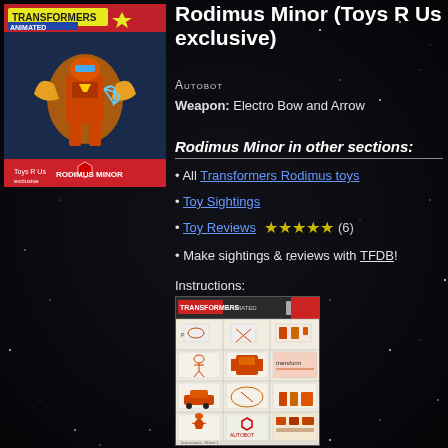[Figure (photo): Transformers Animated Rodimus Minor toy in package box art]
Rodimus Minor (Toys R Us exclusive)
Autobot
Weapon: Electro Bow and Arrow
Rodimus Minor in other sections:
All Transformers Rodimus toys
Toy Sightings
Toy Reviews ★★★★★ (6)
Make sightings & reviews with TFDB!
Instructions:
[Figure (photo): Transformers instruction sheet thumbnail showing transformation steps]
Package art:
[Figure (photo): Package art thumbnail showing Rodimus Minor character]